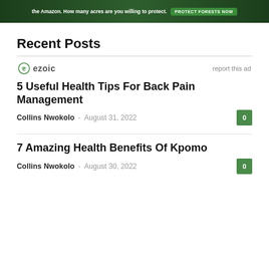[Figure (illustration): Amazon rainforest protection banner advertisement with green forest imagery, text about protecting the Amazon, and a 'Protect Forests Now' button]
Recent Posts
[Figure (logo): Ezoic logo with circular icon and 'ezoic' text, with 'report this ad' link on the right]
5 Useful Health Tips For Back Pain Management
Collins Nwokolo - August 31, 2022  0
7 Amazing Health Benefits Of Kpomo
Collins Nwokolo - August 30, 2022  0